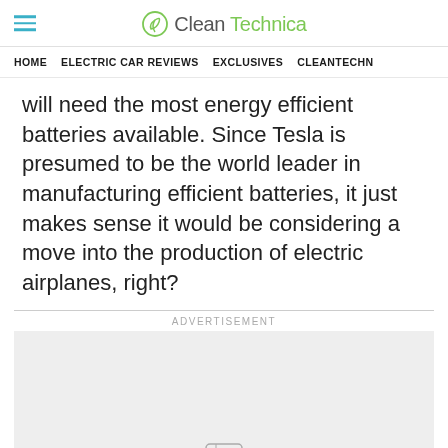CleanTechnica
HOME   ELECTRIC CAR REVIEWS   EXCLUSIVES   CLEANTECHN
will need the most energy efficient batteries available. Since Tesla is presumed to be the world leader in manufacturing efficient batteries, it just makes sense it would be considering a move into the production of electric airplanes, right?
[Figure (other): Advertisement placeholder box with ad label above]